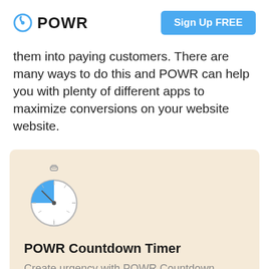POWR | Sign Up FREE
them into paying customers. There are many ways to do this and POWR can help you with plenty of different apps to maximize conversions on your website website.
[Figure (illustration): Stopwatch icon with blue pie-slice segment indicating time elapsed, on a beige card background]
POWR Countdown Timer
Create urgency with POWR Countdown Timer! You can count down to a specific date and time to give your visitors the feeling that